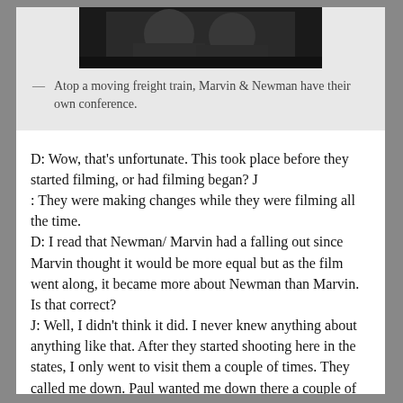[Figure (photo): Black and white photograph showing two men atop a moving freight train.]
— Atop a moving freight train, Marvin & Newman have their own conference.
D: Wow, that's unfortunate. This took place before they started filming, or had filming began? J
: They were making changes while they were filming all the time.
D: I read that Newman/ Marvin had a falling out since Marvin thought it would be more equal but as the film went along, it became more about Newman than Marvin. Is that correct?
J: Well, I didn't think it did. I never knew anything about anything like that. After they started shooting here in the states, I only went to visit them a couple of times. They called me down. Paul wanted me down there a couple of times and I went down. I never saw anything wrong between them.